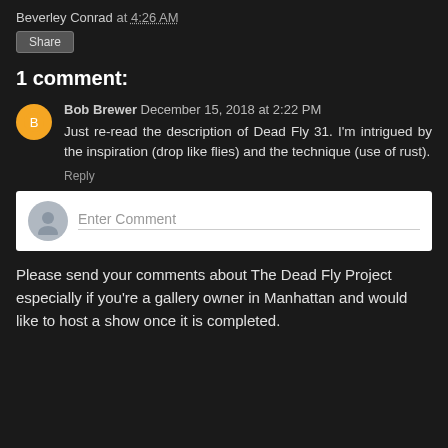Beverley Conrad at 4:26 AM
Share
1 comment:
Bob Brewer December 15, 2018 at 2:22 PM
Just re-read the description of Dead Fly 31. I'm intrigued by the inspiration (drop like flies) and the technique (use of rust).
Reply
Enter Comment
Please send your comments about The Dead Fly Project especially if you're a gallery owner in Manhattan and would like to host a show once it is completed.